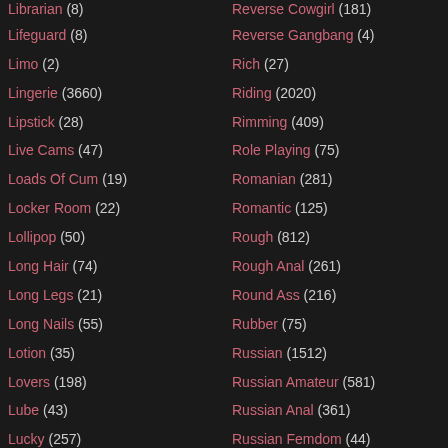Lifeguard (8)
Reverse Gangbang (4)
Limo (2)
Rich (27)
Lingerie (3660)
Riding (2020)
Lipstick (28)
Rimming (409)
Live Cams (47)
Role Playing (75)
Loads Of Cum (19)
Romanian (281)
Locker Room (22)
Romantic (125)
Lollipop (50)
Rough (812)
Long Hair (74)
Rough Anal (261)
Long Legs (21)
Round Ass (216)
Long Nails (55)
Rubber (75)
Lotion (35)
Russian (1512)
Lovers (198)
Russian Amateur (581)
Lube (43)
Russian Anal (361)
Lucky (257)
Russian Femdom (44)